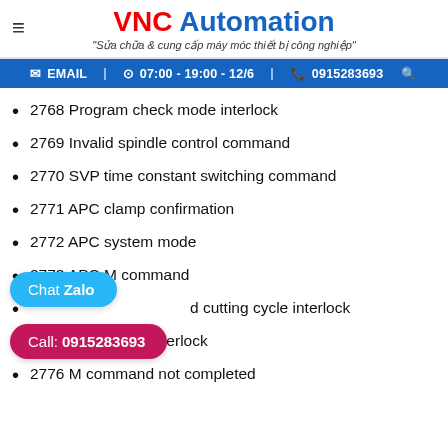VNC Automation — "Sửa chữa & cung cấp máy móc thiết bị công nghiệp"
EMAIL  07:00 - 19:00 - 12/6  0915283693
2768 Program check mode interlock
2769 Invalid spindle control command
2770 SVP time constant switching command
2771 APC clamp confirmation
2772 APC system mode
2773 APC M command
27[74] ...d cutting cycle interlock
27[75] ...interlock
2776 M command not completed